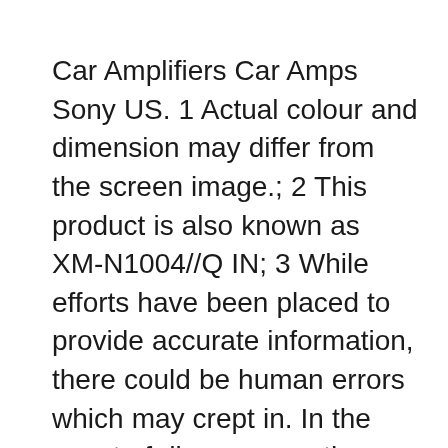Car Amplifiers Car Amps Sony US. 1 Actual colour and dimension may differ from the screen image.; 2 This product is also known as XM-N1004//Q IN; 3 While efforts have been placed to provide accurate information, there could be human errors which may crept in. In the event of discrepancy, the product operating instructions supplied with product shall be the authentic reference point. 4 Features, Specification, weight & price 24/06/2015B B· Download link Sony Xplod 100db Manual here: http://adf.ly/1R82Vl In undergoing that life, many individuals always make an effort to do and obtain the very be